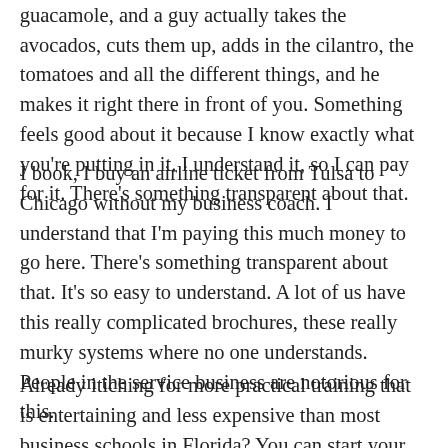guacamole, and a guy actually takes the avocados, cuts them up, adds in the cilantro, the tomatoes and all the different things, and he makes it right there in front of you. Something feels good about it because I know exactly what you're putting in it. I understand it, so I can pay for it. There's something transparent about that.
I book, I buy an airline ticket from Tulsa to Chicago without my business coach. I understand that I'm paying this much money to go here. There's something transparent about that. It's so easy to understand. A lot of us have this really complicated brochures, these really murky systems where no one understands. People in the service business are notorious for this.
Already itiching for more practical training that is entertaining and less expensive than most business schools in Florida? You can start your gamified edutainment today at Thrive15.com!
I'm just going to go off on one specific business coach